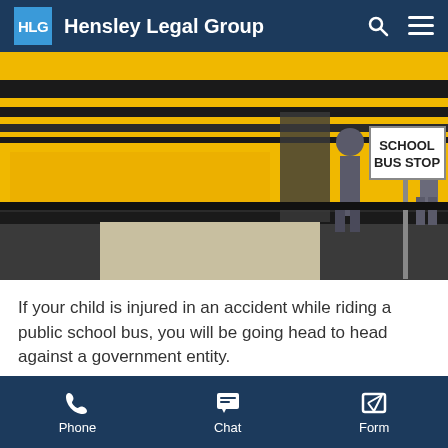HLG  Hensley Legal Group
[Figure (photo): Close-up photo of a yellow school bus at a school bus stop, with students visible boarding the bus. A white 'SCHOOL BUS STOP' sign is visible on the right side. The bus shows yellow panels with black stripes.]
If your child is injured in an accident while riding a public school bus, you will be going head to head against a government entity.
Pursuing a claim against a government entity
Phone   Chat   Form